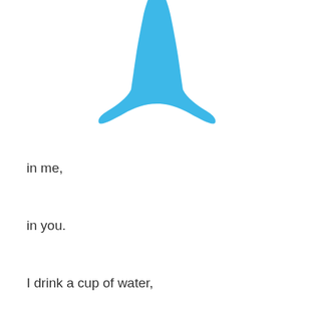[Figure (illustration): Blue silhouette of a fish tail / mermaid tail shape, centered near the top of the page.]
in me,

in you.

I drink a cup of water,

a cup made of mud perhaps,

earth and water

holding water.